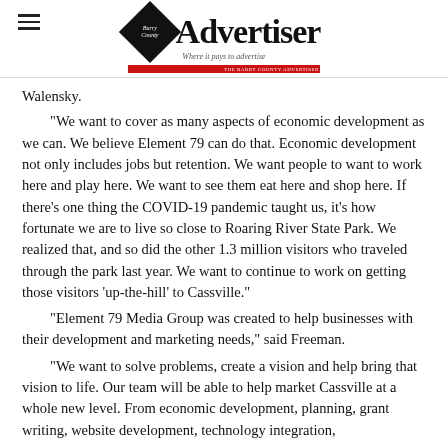Barry County Advertiser — Where it pays to advertise
Walensky.
“We want to cover as many aspects of economic development as we can. We believe Element 79 can do that. Economic development not only includes jobs but retention. We want people to want to work here and play here. We want to see them eat here and shop here. If there’s one thing the COVID-19 pandemic taught us, it’s how fortunate we are to live so close to Roaring River State Park. We realized that, and so did the other 1.3 million visitors who traveled through the park last year. We want to continue to work on getting those visitors ‘up-the-hill’ to Cassville.”
“Element 79 Media Group was created to help businesses with their development and marketing needs,” said Freeman.
“We want to solve problems, create a vision and help bring that vision to life. Our team will be able to help market Cassville at a whole new level. From economic development, planning, grant writing, website development, technology integration,